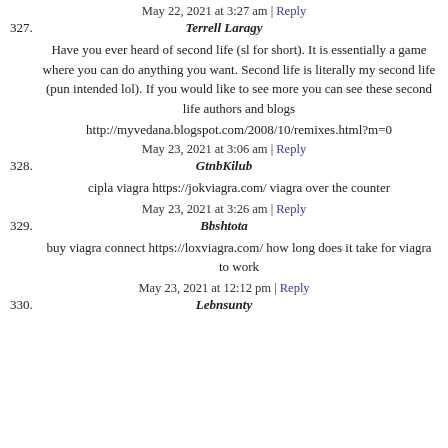May 22, 2021 at 3:27 am | Reply
327. Terrell Laragy
Have you ever heard of second life (sl for short). It is essentially a game where you can do anything you want. Second life is literally my second life (pun intended lol). If you would like to see more you can see these second life authors and blogs
http://myvedana.blogspot.com/2008/10/remixes.html?m=0
May 23, 2021 at 3:06 am | Reply
328. GtnbKilub
cipla viagra https://jokviagra.com/ viagra over the counter
May 23, 2021 at 3:26 am | Reply
329. Bbshtota
buy viagra connect https://loxviagra.com/ how long does it take for viagra to work
May 23, 2021 at 12:12 pm | Reply
330. Lebnsunty